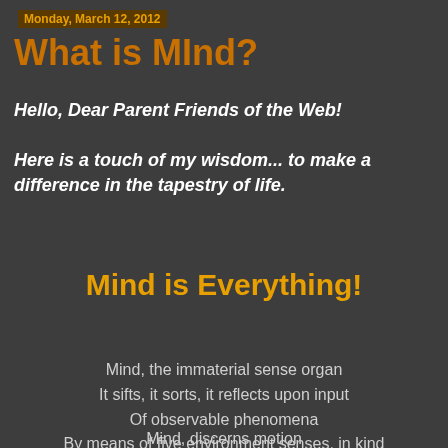Monday, March 12, 2012
What is MInd?
Hello, Dear Parent Friends of the Web!
Here is a touch of my wisdom... to make a difference in the tapestry of life.
Mind is Everything!
Mind, the immaterial sense organ
It sifts, it sorts, it reflects upon input
Of observable phenomena
By means of five environment senses, in kind
Mind, discerns motion